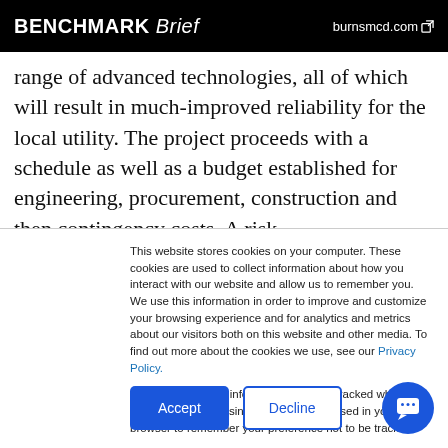BENCHMARK Brief — burnsmcd.com
range of advanced technologies, all of which will result in much-improved reliability for the local utility. The project proceeds with a schedule as well as a budget established for engineering, procurement, construction and then contingency costs. A risk
This website stores cookies on your computer. These cookies are used to collect information about how you interact with our website and allow us to remember you. We use this information in order to improve and customize your browsing experience and for analytics and metrics about our visitors both on this website and other media. To find out more about the cookies we use, see our Privacy Policy.

If you decline, your information won't be tracked when you visit this website. A single cookie will be used in your browser to remember your preference not to be tracked.